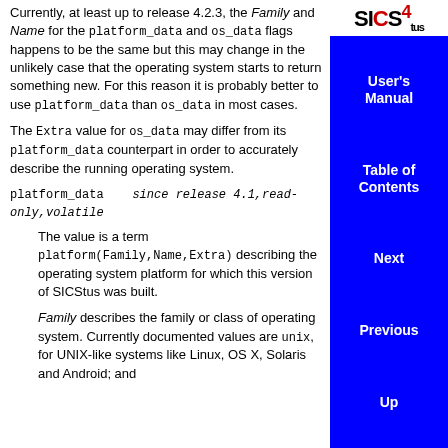Currently, at least up to release 4.2.3, the Family and Name for the platform_data and os_data flags happens to be the same but this may change in the unlikely case that the operating system starts to return something new. For this reason it is probably better to use platform_data than os_data in most cases.
The Extra value for os_data may differ from its platform_data counterpart in order to accurately describe the running operating system.
platform_data    since release 4.1,read-only,volatile
The value is a term platform(Family,Name,Extra) describing the operating system platform for which this version of SICStus was built.
Family describes the family or class of operating system. Currently documented values are unix, for UNIX-like systems like Linux, OS X, Solaris and Android; and